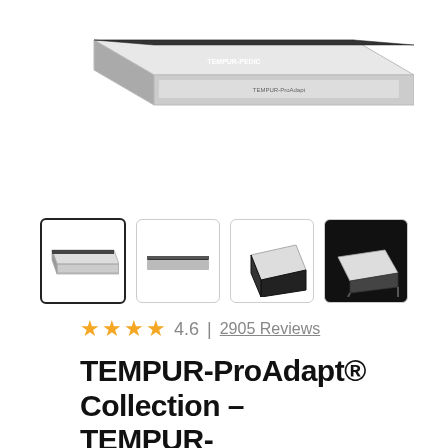[Figure (photo): Main product photo of a TEMPUR-Pedic mattress seen from a slight angle, white top with dark grey/black sides, against white background]
[Figure (photo): Four thumbnail images of the TEMPUR-ProAdapt mattress from various angles. First thumbnail is selected (bold border). Second shows side profile. Third shows corner angle. Fourth shows mattress on adjustable base against dark background.]
4.6  |  2905 Reviews
TEMPUR-ProAdapt® Collection – TEMPUR-ProAdapt® Medium